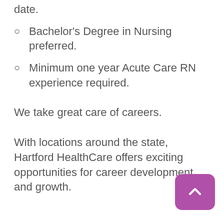date.
Bachelor's Degree in Nursing preferred.
Minimum one year Acute Care RN experience required.
We take great care of careers.
With locations around the state, Hartford HealthCare offers exciting opportunities for career development and growth.